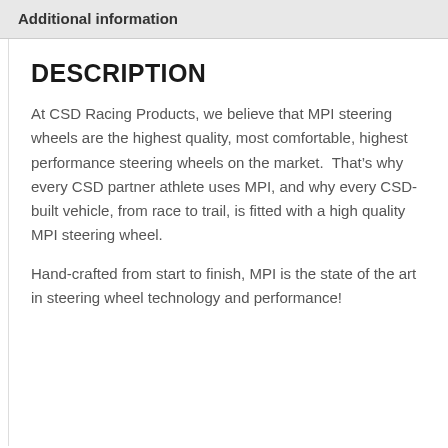Additional information
DESCRIPTION
At CSD Racing Products, we believe that MPI steering wheels are the highest quality, most comfortable, highest performance steering wheels on the market.  That’s why every CSD partner athlete uses MPI, and why every CSD-built vehicle, from race to trail, is fitted with a high quality MPI steering wheel.
Hand-crafted from start to finish, MPI is the state of the art in steering wheel technology and performance!